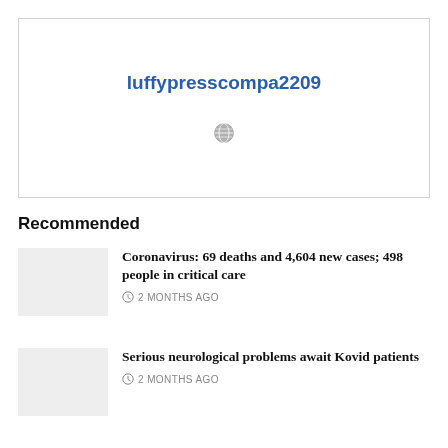[Figure (other): Banner box with username luffypresscompa2209 and globe icon]
Recommended
Coronavirus: 69 deaths and 4,604 new cases; 498 people in critical care
2 MONTHS AGO
Serious neurological problems await Kovid patients
2 MONTHS AGO